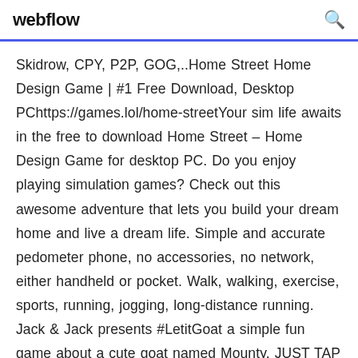webflow
Skidrow, CPY, P2P, GOG,..Home Street Home Design Game | #1 Free Download, Desktop PChttps://games.lol/home-streetYour sim life awaits in the free to download Home Street – Home Design Game for desktop PC. Do you enjoy playing simulation games? Check out this awesome adventure that lets you build your dream home and live a dream life. Simple and accurate pedometer phone, no accessories, no network, either handheld or pocket. Walk, walking, exercise, sports, running, jogging, long-distance running. Jack & Jack presents #LetitGoat a simple fun game about a cute goat named Mounty. JUST TAP TO JUMP over the